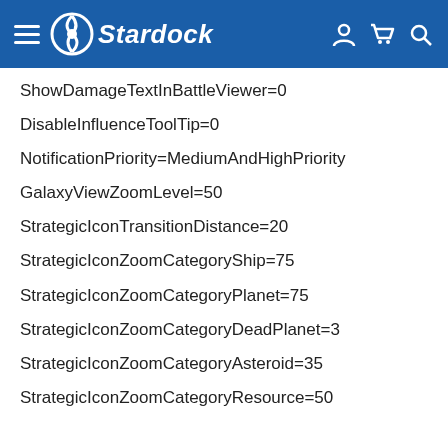Stardock
ShowDamageTextInBattleViewer=0
DisableInfluenceToolTip=0
NotificationPriority=MediumAndHighPriority
GalaxyViewZoomLevel=50
StrategicIconTransitionDistance=20
StrategicIconZoomCategoryShip=75
StrategicIconZoomCategoryPlanet=75
StrategicIconZoomCategoryDeadPlanet=3
StrategicIconZoomCategoryAsteroid=35
StrategicIconZoomCategoryResource=50